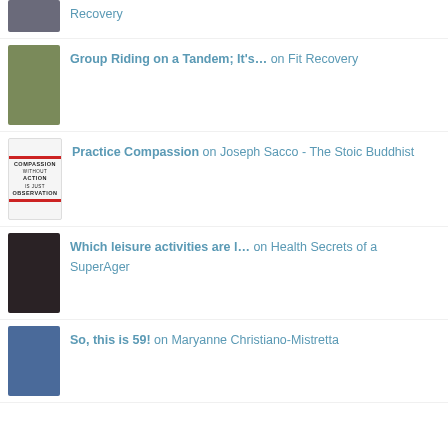Recovery
Group Riding on a Tandem; It's… on Fit Recovery
Practice Compassion on Joseph Sacco - The Stoic Buddhist
Which leisure activities are l… on Health Secrets of a SuperAger
So, this is 59! on Maryanne Christiano-Mistretta